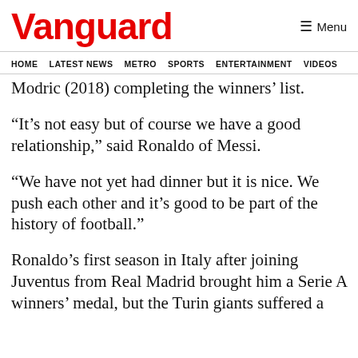Vanguard
≡ Menu
HOME  LATEST NEWS  METRO  SPORTS  ENTERTAINMENT  VIDEOS
Modric (2018) completing the winners' list.
“It’s not easy but of course we have a good relationship,” said Ronaldo of Messi.
“We have not yet had dinner but it is nice. We push each other and it’s good to be part of the history of football.”
Ronaldo’s first season in Italy after joining Juventus from Real Madrid brought him a Serie A winners’ medal, but the Turin giants suffered a